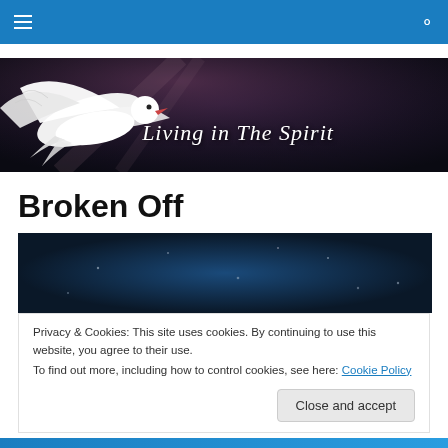Navigation bar with hamburger menu and search icon
[Figure (illustration): Banner image with a white dove in flight against a dark dramatic background, with italic cursive text 'Living in The Spirit']
Broken Off
[Figure (photo): Dark blue atmospheric image, possibly night sky or deep water background]
Privacy & Cookies: This site uses cookies. By continuing to use this website, you agree to their use.
To find out more, including how to control cookies, see here: Cookie Policy
Close and accept